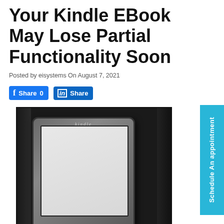Your Kindle EBook May Lose Partial Functionality Soon
Posted by eisystems On August 7, 2021
[Figure (photo): A Kindle e-reader device photographed against a dark background, showing the device screen and speaker grille]
Schedule An appointment